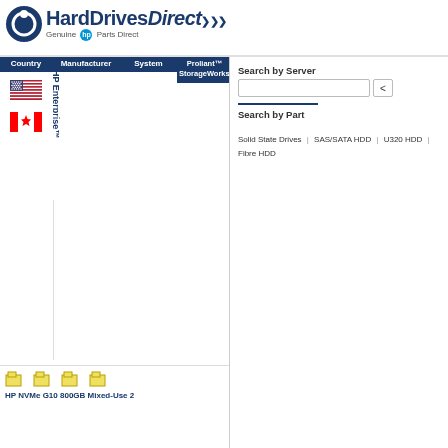[Figure (screenshot): HardDrivesDirect website screenshot showing HP NVMe G10 800GB Mixed-Use 2.5 Hard Drives product page with navigation columns for Country, Manufacturer, System, Proliant StorageWorks, search panel, and product listing]
HardDrivesDirect
Genuine HP Parts Direct
Home: HP NVMe G10 800GB Mixed-Use 2.5 Hard Drives
Search by Server
Search by Part
Solid State Drives | SAS/SATA HDD | U320 HDD | Fibre HDD
Country
Manufacturer
System
HP Enterprise™
Proliant™ StorageWorks™
Specials G10+
Proliant Specials
HP NVMe G10 800GB Mixed-Use 2.5 Solid State
Proliant NVMe 2.5" G10 MU Smart Carrier (SCN
Proliant NVMe 400GB 2.5" Mixed-Use
Proliant NVMe 1.6TB 2.5" Mixed-Use
Proliant NVMe 2TB 2.5" Mixed-Use
Proliant NVMe 6.4TB 2.5" Mixed-Use
HP NVMe G10 800GB Mixed-Use 2